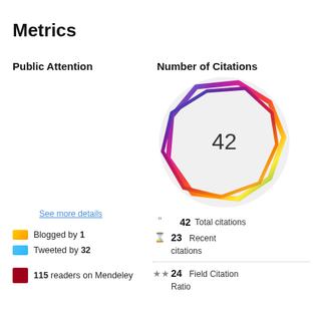Metrics
Public Attention
Number of Citations
[Figure (infographic): Altmetric donut-style rainbow polygon showing 42 citations, rendered as a colorful irregular polygon outline (blue, purple, red, orange, yellow, green gradient) inside a light gray circle, with number 42 in center]
42  Total citations
23  Recent citations
24  Field Citation Ratio
See more details
Blogged by 1
Tweeted by 32
115 readers on Mendeley